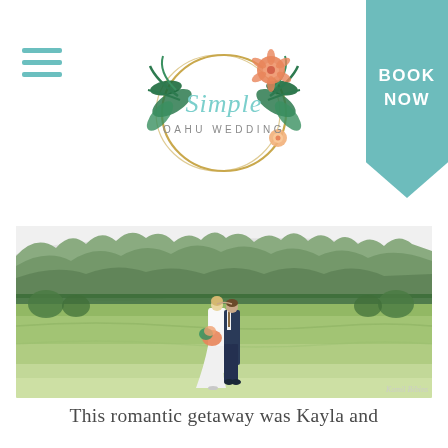[Figure (logo): Simple Oahu Wedding logo — circular gold geometric frame with tropical flowers (protea, monstera, palm leaves) and script text 'Simple' above 'OAHU WEDDING']
[Figure (photo): Wedding couple kissing in an open grassy field with dramatic misty green Ko'olau mountain range in the background. Bride in white dress holding tropical bouquet, groom in navy suit. Photographer watermark 'Kamil Bibins' in lower right.]
This romantic getaway was Kayla and